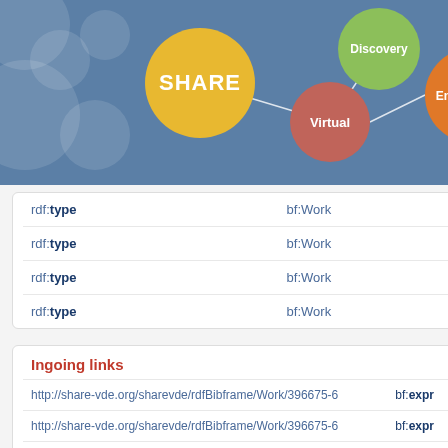[Figure (infographic): SHARE Virtual Discovery Environment bubble diagram showing interconnected nodes: SHARE (yellow, large), Virtual (red-brown), Discovery (green), Environment (orange), on a blue background]
| rdf:type | bf:Work |
| rdf:type | bf:Work |
| rdf:type | bf:Work |
| rdf:type | bf:Work |
Ingoing links
| http://share-vde.org/sharevde/rdfBibframe/Work/396675-6 | bf:expr |
| http://share-vde.org/sharevde/rdfBibframe/Work/396675-6 | bf:expr |
| http://share-vde.org/sharevde/rdfBibframe/Work/396675-6 | bf:expr |